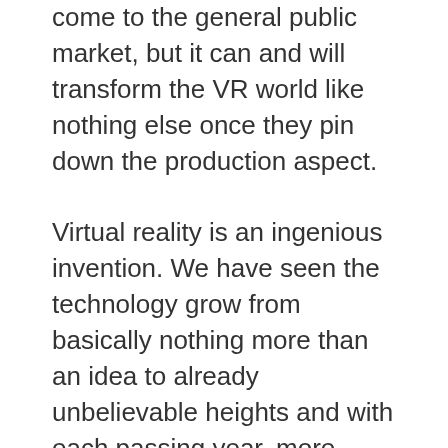come to the general public market, but it can and will transform the VR world like nothing else once they pin down the production aspect.
Virtual reality is an ingenious invention. We have seen the technology grow from basically nothing more than an idea to already unbelievable heights and with each passing year, more research and development is done into the possibilities of VR. The uses of the technology to help human kind and also provide a little entertainment for the masses is something that is truly remarkable and even though you may believe that virtual reality technology has gone as far as it can go, just